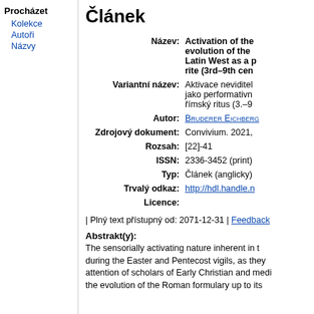Procházet
Kolekce
Autoři
Názvy
Článek
| Label | Value |
| --- | --- |
| Název: | Activation of the evolution of the Latin West as a rite (3rd–9th cen… |
| Variantní název: | Aktivace neviditel… jako performativn… římský ritus (3.–9… |
| Autor: | Bruderer Eichberg… |
| Zdrojový dokument: | Convivium. 2021,… |
| Rozsah: | [22]-41 |
| ISSN: | 2336-3452 (print) |
| Typ: | Článek (anglicky) |
| Trvalý odkaz: | http://hdl.handle.n… |
| Licence: |  |
| Plný text přístupný od: 2071-12-31 | Feedback…
Abstrakt(y):
The sensorially activating nature inherent in t… during the Easter and Pentecost vigils, as they… attention of scholars of Early Christian and medi… the evolution of the Roman formulary up to its…